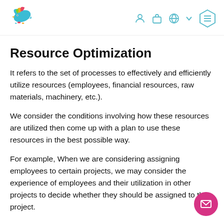Resource Optimization - website header with logo and navigation icons
Resource Optimization
It refers to the set of processes to effectively and efficiently utilize resources (employees, financial resources, raw materials, machinery, etc.).
We consider the conditions involving how these resources are utilized then come up with a plan to use these resources in the best possible way.
For example, When we are considering assigning employees to certain projects, we may consider the experience of employees and their utilization in other projects to decide whether they should be assigned to the project.